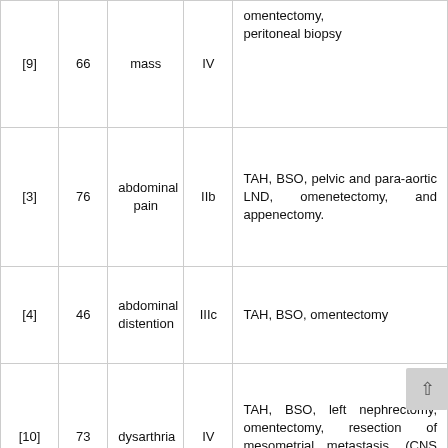| [9] | 66 | mass | IV | omentectomy, peritoneal biopsy |
| [3] | 76 | abdominal pain | IIb | TAH, BSO, pelvic and para-aortic LND, omenetectomy, and appenectomy. |
| [4] | 46 | abdominal distention | IIIc | TAH, BSO, omentectomy |
| [10] | 73 | dysarthria | IV | TAH, BSO, left nephrectomy, omentectomy, resection of mesometrial metastasis, (CNS recurrence 2 mos s/p chemo) |
|  |  |  |  |  |